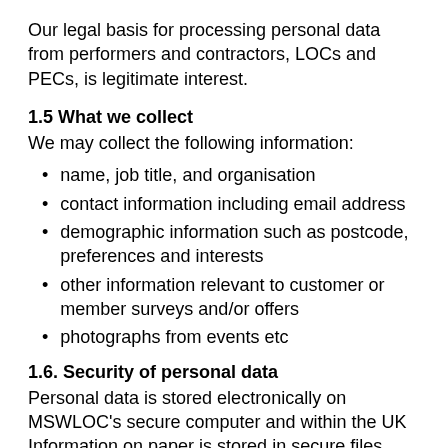Our legal basis for processing personal data from performers and contractors, LOCs and PECs, is legitimate interest.
1.5 What we collect
We may collect the following information:
name, job title, and organisation
contact information including email address
demographic information such as postcode, preferences and interests
other information relevant to customer or member surveys and/or offers
photographs from events etc
1.6. Security of personal data
Personal data is stored electronically on MSWLOC's secure computer and within the UK Information on paper is stored in secure files